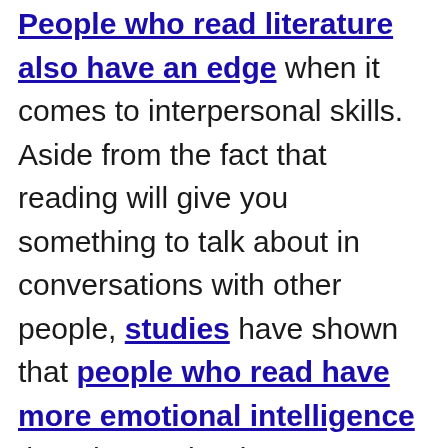People who read literature also have an edge when it comes to interpersonal skills. Aside from the fact that reading will give you something to talk about in conversations with other people, studies have shown that people who read have more emotional intelligence than those who don't.
Reading improves your ability to pick up on other people's facial cues because it provides you with a larger reference point to decode another person's